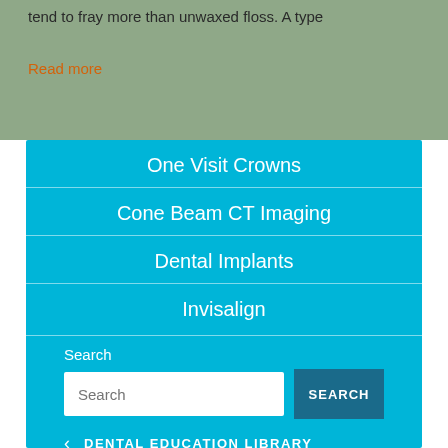tend to fray more than unwaxed floss. A type
Read more
One Visit Crowns
Cone Beam CT Imaging
Dental Implants
Invisalign
Search
DENTAL EDUCATION LIBRARY
Oral Health Topics